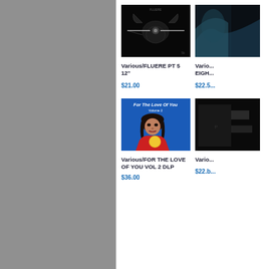[Figure (photo): Album cover for Various/FLUERE PT 5 12" - dark image with mechanical/abstract imagery on black background]
Various/FLUERE PT 5 12"
$21.00
[Figure (photo): Partial album cover - dark/teal image cropped on right side]
Various/EIGH...
$22.5...
[Figure (photo): Album cover for Various/FOR THE LOVE OF YOU VOL 2 DLP - blue background with woman in red holding fruit, text 'For The Love Of You Volume 2']
Various/FOR THE LOVE OF YOU VOL 2 DLP
$36.00
[Figure (photo): Partial dark album cover cropped on right side]
Vario...
$22.b...